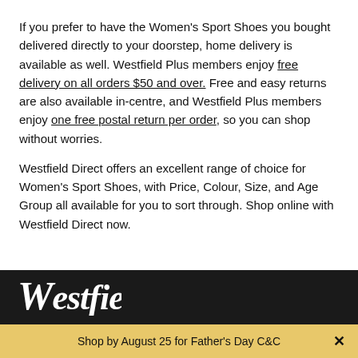If you prefer to have the Women's Sport Shoes you bought delivered directly to your doorstep, home delivery is available as well. Westfield Plus members enjoy free delivery on all orders $50 and over. Free and easy returns are also available in-centre, and Westfield Plus members enjoy one free postal return per order, so you can shop without worries.
Westfield Direct offers an excellent range of choice for Women's Sport Shoes, with Price, Colour, Size, and Age Group all available for you to sort through. Shop online with Westfield Direct now.
[Figure (logo): Westfield logo in white italic script on dark background]
Shop by August 25 for Father's Day C&C